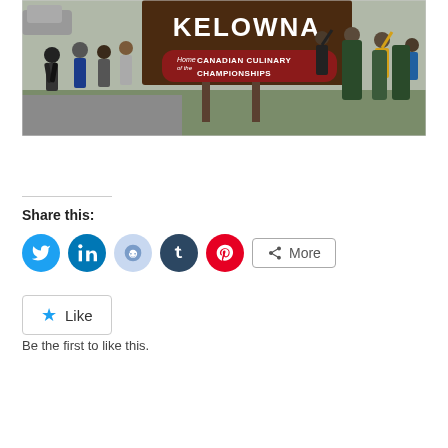[Figure (photo): Group of people posing in front of Kelowna sign reading 'Home of the Canadian Culinary Championships']
Share this:
[Figure (infographic): Social sharing buttons: Twitter (blue circle), LinkedIn (blue circle), Reddit (light blue circle), Tumblr (dark blue circle), Pinterest (red circle), More button]
Like
Be the first to like this.